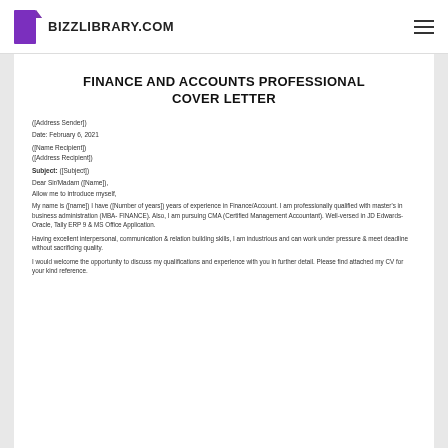BIZZLIBRARY.COM
FINANCE AND ACCOUNTS PROFESSIONAL COVER LETTER
([Address Sender])
Date: February 6, 2021
([Name Recipient])
([Address Recipient])
Subject: ([Subject])
Dear Sir/Madam ([Name]),
Allow me to introduce myself,
My name is ([name]) I have ([Number of years]) years of experience in Finance/Account. I am professionally qualified with master's in business administration (MBA- FINANCE). Also, I am pursuing CMA (Certified Management Accountant). Well-versed in JD Edwards-Oracle, Tally ERP 9 & MS Office Application.
Having excellent interpersonal, communication & relation building skills, I am industrious and can work under pressure & meet deadline without sacrificing quality.
I would welcome the opportunity to discuss my qualifications and experience with you in further detail. Please find attached my CV for your kind reference.